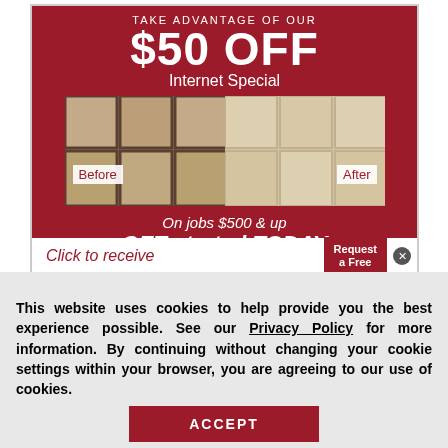[Figure (infographic): Advertisement with dark red background showing '$50 OFF Internet Special' promotion with before/after tile cleaning photos. Before image shows darker grout lines, After image shows cleaner lighter tiles. Bottom shows 'On jobs $500 & up GET started TODAY' and a 'Click to receive' CTA bar with 'Request a Free' button.]
This website uses cookies to help provide you the best experience possible. See our Privacy Policy for more information. By continuing without changing your cookie settings within your browser, you are agreeing to our use of cookies.
ACCEPT